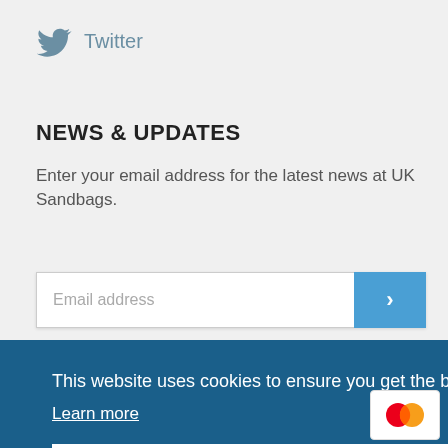[Figure (logo): Twitter bird logo icon in blue]
Twitter
NEWS & UPDATES
Enter your email address for the latest news at UK Sandbags.
[Figure (other): Email address input field with blue submit arrow button]
This website uses cookies to ensure you get the best experience on our website.
Learn more
Got it!
[Figure (logo): MasterCard logo badge]